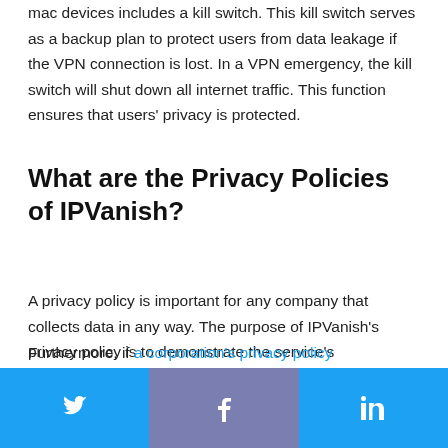mac devices includes a kill switch. This kill switch serves as a backup plan to protect users from data leakage if the VPN connection is lost. In a VPN emergency, the kill switch will shut down all internet traffic. This function ensures that users' privacy is protected.
What are the Privacy Policies of IPVanish?
A privacy policy is important for any company that collects data in any way. The purpose of IPVanish's privacy policy is to demonstrate the service's effectiveness and safety to users. Furthermore, if a corporation's privacy policy